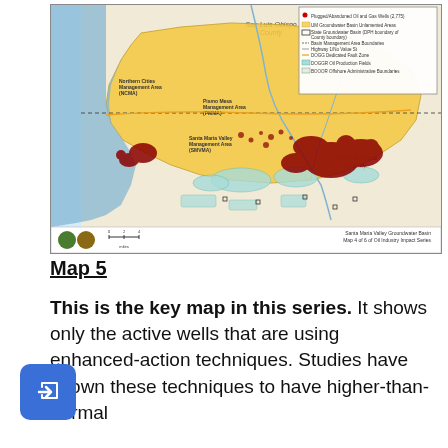[Figure (map): Santa Maria Valley Groundwater Basin Map 4 of 6 of Oil Industry Impact Series. Shows San Luis Obispo County and Santa Barbara County area with yellow highlighted groundwater basin area, dark red oil and gas well clusters, teal/green DOGGR oil production fields, and various management area labels including Northern Cities Management Area (NCMA), Pismo Mesa Management Area (PMMA), and Santa Maria Valley Management Area (SMVMA). Legend shows symbols for plugged/abandoned oil and gas wells, UM groundwater basin unlamented areas, state groundwater basin boundary, county boundary, basin management area boundaries, highway, DOGGR designated fault zone, DOGGR oil production fields, and DOGGR offshore administrative boundary.]
Santa Maria Valley Groundwater Basin Map 4 of 6 of Oil Industry Impact Series
Map 5
This is the key map in this series. It shows only the active wells that are using enhanced-action techniques. Studies have shown these techniques to have higher-than-normal